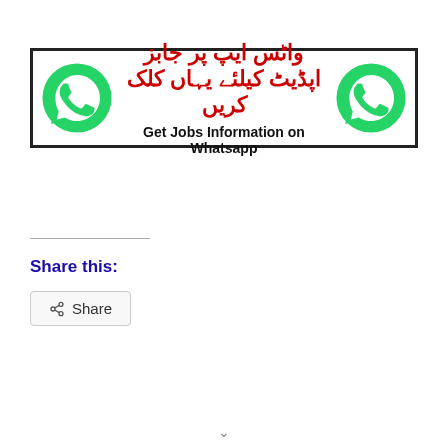[Figure (infographic): WhatsApp banner with two green WhatsApp phone icons on left and right, Urdu red text in center top reading 'واٹس ایپ پر جابز اپڈیٹ کیلئے یہاں کلک کریں', and English bold text below reading 'Get Jobs Information on Whatsapp', all enclosed in a black border rectangle.]
Share this:
Share